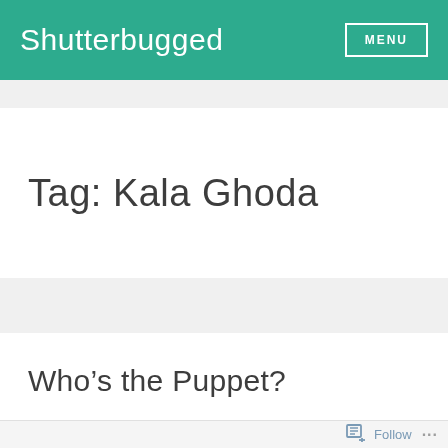Shutterbugged  MENU
Tag: Kala Ghoda
Who’s the Puppet?
Follow ...